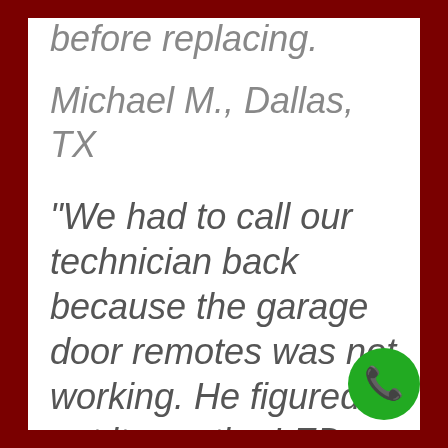before replacing.
Michael M., Dallas, TX
“We had to call our technician back because the garage door remotes was not working. He figured out it was the LED
[Figure (illustration): Green circular phone/call button with white phone handset icon in bottom-right corner]